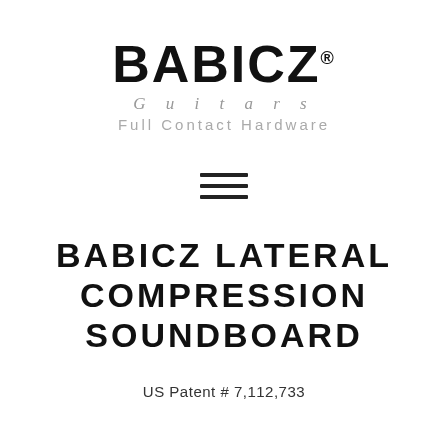[Figure (logo): Babicz Guitars Full Contact Hardware logo with bold BABICZ wordmark and registered trademark symbol, followed by 'Guitars' in italic spaced serif and 'Full Contact Hardware' in gray spaced sans-serif]
[Figure (other): Hamburger menu icon: three horizontal black lines]
BABICZ LATERAL COMPRESSION SOUNDBOARD
US Patent # 7,112,733